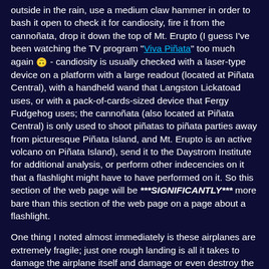outside in the rain, use a medium claw hammer in order to bash it open to check it for candiosity, fire it from the cannoñata, drop it down the top of Mt. Erupto (I guess I've been watching the TV program "Viva Piñata" too much again 🙃 - candiosity is usually checked with a laser-type device on a platform with a large readout (located at Piñata Central), with a handheld wand that Langston Lickatoad uses, or with a pack-of-cards-sized device that Fergy Fudgehog uses; the cannoñata (also located at Piñata Central) is only used to shoot piñatas to piñata parties away from picturesque Piñata Island, and Mt. Erupto is an active volcano on Piñata Island), send it to the Daystrom Institute for additional analysis, or perform other indecencies on it that a flashlight might have to have performed on it. So this section of the web page will be ***SIGNIFICANTLY*** more bare than this section of the web page on a page about a flashlight.
One thing I noted almost immediately is these airplanes are extremely fragile; just one rough landing is all it takes to damage the airplane itself and damage or even destroy the base module. 😯
In fact, I never got any of these airplanes to fly for more than a couple of seconds -- three seconds tops. 😯
The biplane module was destroyed (one of the control arms